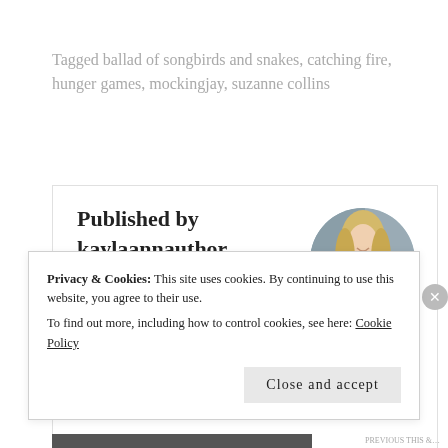Tagged ballad of songbirds and snakes, catching fire, hunger games, mockingjay, suzanne collins
Published by kaylaannauthor
View all posts by kaylaannauthor
[Figure (photo): Circular profile photo of a blonde woman in a blue top against a stone wall background]
Privacy & Cookies: This site uses cookies. By continuing to use this website, you agree to their use. To find out more, including how to control cookies, see here: Cookie Policy
Close and accept